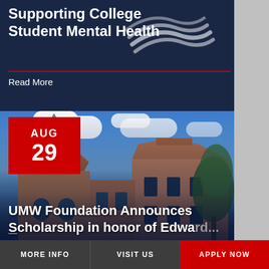Supporting College Student Mental Health
Read More
[Figure (photo): Photograph of a historic university building with a Gothic-style brick tower and steep slate roof under a blue sky with clouds. A large tree is visible on the right side.]
AUG 29
UMW Foundation Announces Scholarship in honor of Edward...
MORE INFO | VISIT US | APPLY NOW